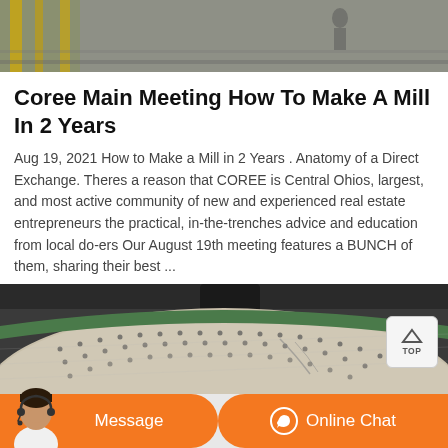[Figure (photo): Industrial machinery image at the top of the page, showing yellow scaffolding and metal structures]
Coree Main Meeting How To Make A Mill In 2 Years
Aug 19, 2021 How to Make a Mill in 2 Years . Anatomy of a Direct Exchange. Theres a reason that COREE is Central Ohios, largest, and most active community of new and experienced real estate entrepreneurs the practical, in-the-trenches advice and education from local do-ers Our August 19th meeting features a BUNCH of them, sharing their best ...
[Figure (photo): Close-up industrial photo of a large cylindrical mill drum with bolt pattern holes, showing green and gray metallic surfaces in an industrial facility]
Message
Online Chat